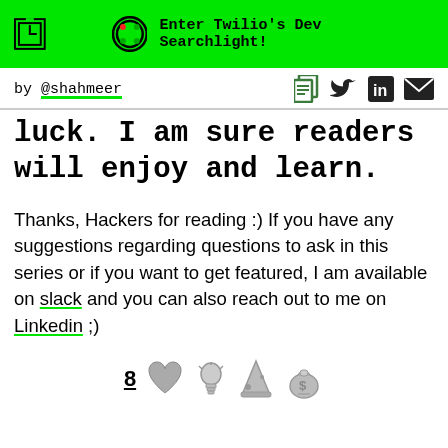Enter Twilio's Dev Searchlight!
by @shahmeer
luck. I am sure readers will enjoy and learn.
Thanks, Hackers for reading :) If you have any suggestions regarding questions to ask in this series or if you want to get featured, I am available on slack and you can also reach out to me on Linkedin ;)
[Figure (infographic): Reaction icons: count 8, heart, lightbulb, rocket, moneybag emoji icons]